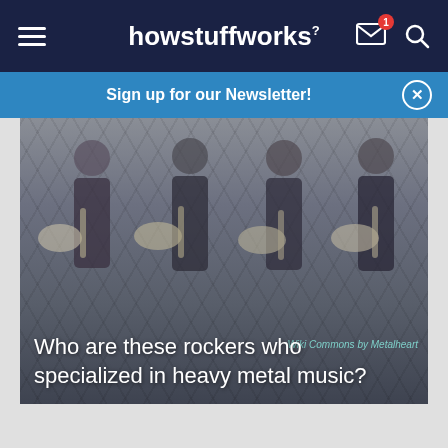howstuffworks
Sign up for our Newsletter!
[Figure (photo): Band of female guitarists performing on stage, playing electric guitars, dimly lit concert setting]
Wiki Commons by Metalheart
Who are these rockers who specialized in heavy metal music?